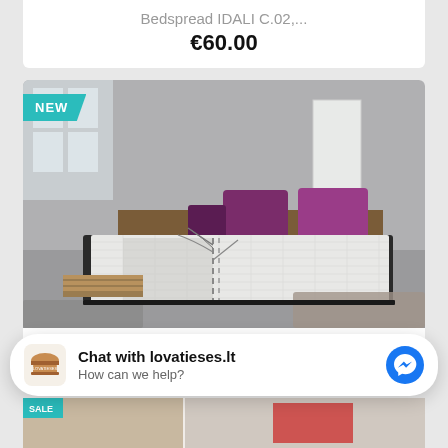Bedspread IDALI C.02,...
€60.00
[Figure (photo): Bedroom scene with a white textured bedspread featuring a dark tree/branch graphic print. Purple satin pillows on headboard. Bedroom with grey walls, wooden pallet coffee table, white tall cabinet, grey rugs. NEW badge in teal on top-left corner.]
Bedspread Zen 250x270 Cm
Chat with lovatieses.lt
How can we help?